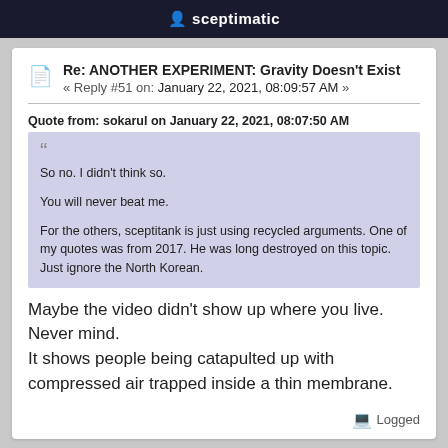sceptimatic
Re: ANOTHER EXPERIMENT: Gravity Doesn't Exist
« Reply #51 on: January 22, 2021, 08:09:57 AM »
Quote from: sokarul on January 22, 2021, 08:07:50 AM
So no. I didn't think so.

You will never beat me.

For the others, sceptitank is just using recycled arguments. One of my quotes was from 2017. He was long destroyed on this topic. Just ignore the North Korean.
Maybe the video didn't show up where you live.
Never mind.
It shows people being catapulted up with compressed air trapped inside a thin membrane.
Logged